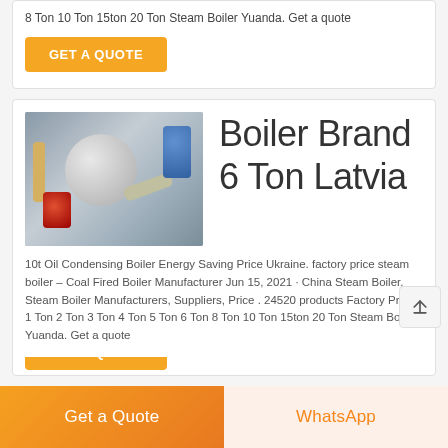8 Ton 10 Ton 15ton 20 Ton Steam Boiler Yuanda. Get a quote
GET A QUOTE
[Figure (photo): Industrial steam boiler with pipes and red burner in a factory setting]
Boiler Brand 6 Ton Latvia
10t Oil Condensing Boiler Energy Saving Price Ukraine. factory price steam boiler – Coal Fired Boiler Manufacturer Jun 15, 2021 · China Steam Boiler, Steam Boiler Manufacturers, Suppliers, Price . 24520 products Factory Price 1 Ton 2 Ton 3 Ton 4 Ton 5 Ton 6 Ton 8 Ton 10 Ton 15ton 20 Ton Steam Boiler Yuanda. Get a quote
GET A QUOTE
Get a Quote
WhatsApp